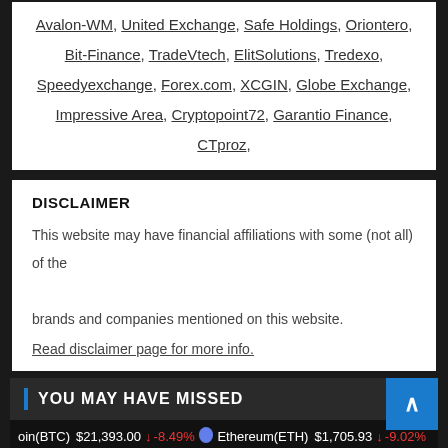Avalon-WM, United Exchange, Safe Holdings, Oriontero, Bit-Finance, TradeVtech, ElitSolutions, Tredexo, Speedyexchange, Forex.com, XCGIN, Globe Exchange, Impressive Area, Cryptopoint72, Garantio Finance, CTproz,
DISCLAIMER
This website may have financial affiliations with some (not all) of the brands and companies mentioned on this website.
Read disclaimer page for more info.
YOU MAY HAVE MISSED
Bitcoin(BTC) $21,393.00 ↓ -8.49% Ethereum(ETH) $1,705.93 ↓ -9.02%